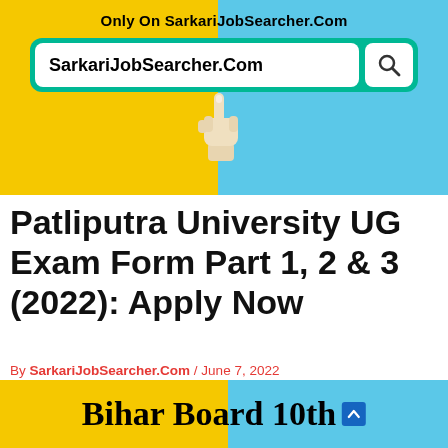[Figure (logo): SarkariJobSearcher.Com website banner with yellow and blue background, search bar with logo text and magnifying glass icon, and hand pointer cursor graphic. Text reads 'Only On SarkariJobSearcher.Com' above the search bar.]
Patliputra University UG Exam Form Part 1, 2 & 3 (2022): Apply Now
By SarkariJobSearcher.Com / June 7, 2022
🔔🔔🔔🔔
[Figure (other): Bottom banner with yellow and blue diagonal background showing 'Bihar Board 10th' text with scroll-up arrow icon]